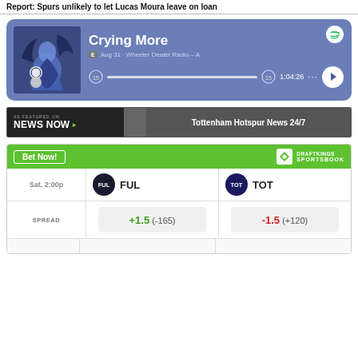Report: Spurs unlikely to let Lucas Moura leave on loan
[Figure (screenshot): Spotify podcast player card showing 'Crying More' episode from Wheeler Dealer Radio, Aug 31, duration 1:04:26]
[Figure (screenshot): News Now banner: AS FEATURED ON News Now — Tottenham Hotspur News 24/7]
|  | FUL | TOT |
| --- | --- | --- |
| Sat, 2:00p | FUL | TOT |
| SPREAD | +1.5 (-165) | -1.5 (+120) |